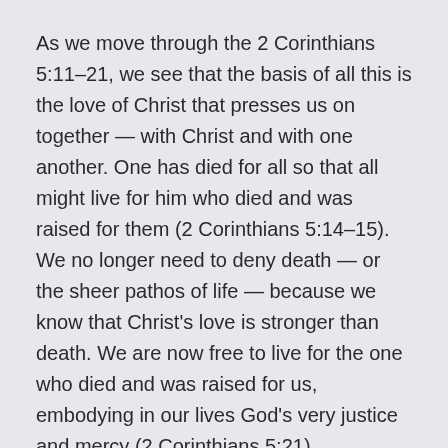As we move through the 2 Corinthians 5:11–21, we see that the basis of all this is the love of Christ that presses us on together — with Christ and with one another. One has died for all so that all might live for him who died and was raised for them (2 Corinthians 5:14–15). We no longer need to deny death — or the sheer pathos of life — because we know that Christ's love is stronger than death. We are now free to live for the one who died and was raised for us, embodying in our lives God's very justice and mercy (2 Corinthians 5:21).
This gives us a radically fresh perspective on life. We no longer need to view others from the standpoint of human criteria — in the same way that we no longer view Jesus as just one more martyr for a righteous cause. In Christ, there is new creation; all